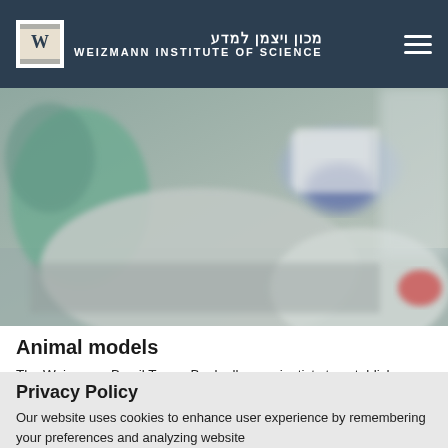Weizmann Institute of Science
[Figure (photo): Close-up photo of a lab researcher in protective gear (gloves, mask, lab coat) working with laboratory equipment and samples on a lab bench.]
Animal models
The Weizmann-Brazil Tumor Bank allows scientists to establish models in which tumors, freshly obtained from patients in the operating room after biopsy or tumor resection
Privacy Policy
Our website uses cookies to enhance user experience by remembering your preferences and analyzing website